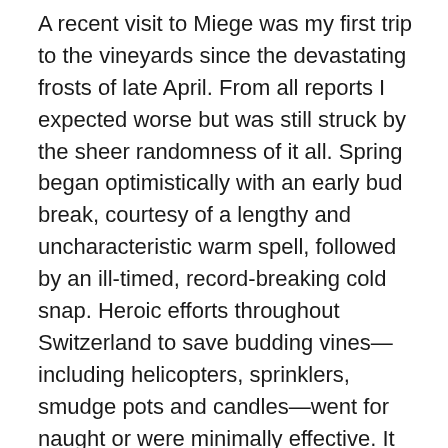A recent visit to Miege was my first trip to the vineyards since the devastating frosts of late April. From all reports I expected worse but was still struck by the sheer randomness of it all. Spring began optimistically with an early bud break, courtesy of a lengthy and uncharacteristic warm spell, followed by an ill-timed, record-breaking cold snap. Heroic efforts throughout Switzerland to save budding vines—including helicopters, sprinklers, smudge pots and candles—went for naught or were minimally effective. It was just too cold for too long.
According to form, Valais was hardest hit and nowhere in Valais more so than the coteaux de Sierre. A walk through the vineyards tells the story. Entire rows of otherwise healthy looking, leafy vines were without clusters and some—with only the barest hope of ripening—sprouted nascent, barely formed secondary shoots.